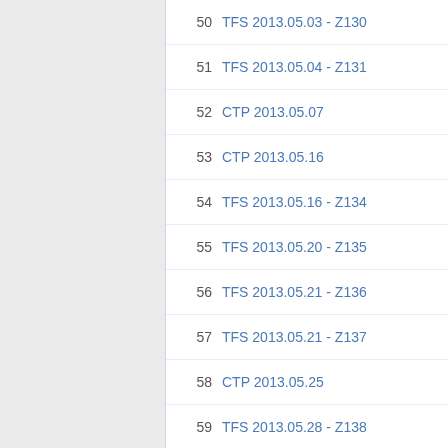50 TFS 2013.05.03 - Z130
51 TFS 2013.05.04 - Z131
52 CTP 2013.05.07
53 CTP 2013.05.16
54 TFS 2013.05.16 - Z134
55 TFS 2013.05.20 - Z135
56 TFS 2013.05.21 - Z136
57 TFS 2013.05.21 - Z137
58 CTP 2013.05.25
59 TFS 2013.05.28 - Z138
60 TFS 2013.05.28 - Z139
61 TFS 2013.05.29 - Z140
62 TFS 2013.06.04 - Z142
63 CTP 2013.06.08
64 TFS 2013.06.08 - Z143
65 TFS 2013.06.14 - Z145
66 TFS 2013.06.15 - Z146